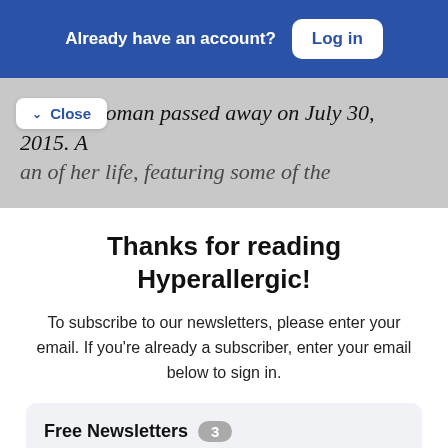Already have an account?
Log in
Mrs. Holloman passed away on July 30, 2015. A ... of her life, featuring some of the
Close
Thanks for reading Hyperallergic!
To subscribe to our newsletters, please enter your email. If you're already a subscriber, enter your email below to sign in.
Free Newsletters 3
Daily - The latest stories every weekday morning